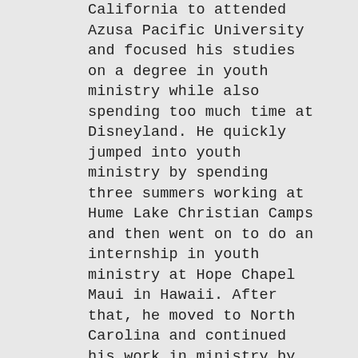California to attended Azusa Pacific University and focused his studies on a degree in youth ministry while also spending too much time at Disneyland. He quickly jumped into youth ministry by spending three summers working at Hume Lake Christian Camps and then went on to do an internship in youth ministry at Hope Chapel Maui in Hawaii. After that, he moved to North Carolina and continued his work in ministry by helping Hume Lake run a camp in Hawaii and then spent a summer at Summit Ministries in Colorado doing worldview training with youth. He now lives in Clemmons and is attending Liberty University online to pursue a Bachelor of Science in Religion with a counseling...